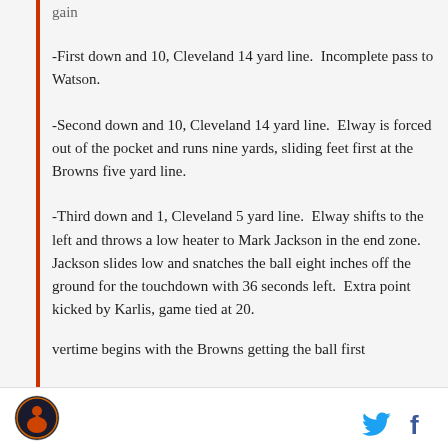gain
-First down and 10, Cleveland 14 yard line. Incomplete pass to Watson.
-Second down and 10, Cleveland 14 yard line. Elway is forced out of the pocket and runs nine yards, sliding feet first at the Browns five yard line.
-Third down and 1, Cleveland 5 yard line. Elway shifts to the left and throws a low heater to Mark Jackson in the end zone. Jackson slides low and snatches the ball eight inches off the ground for the touchdown with 36 seconds left. Extra point kicked by Karlis, game tied at 20.
vertime begins with the Browns getting the ball first